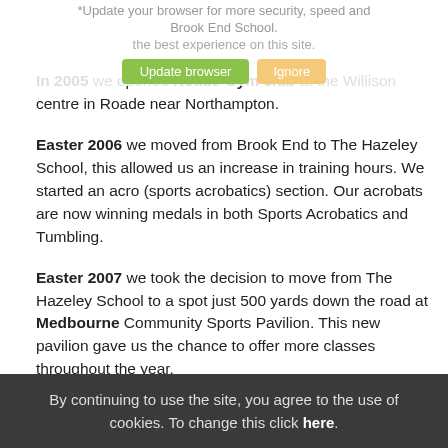Update your browser for more security, speed and the best experience on this site. [Update browser] [Ignore]
In 2005 we opened Roade Gym club at the Willison centre in Roade near Northampton.
Easter 2006 we moved from Brook End to The Hazeley School, this allowed us an increase in training hours. We started an acro (sports acrobatics) section. Our acrobats are now winning medals in both Sports Acrobatics and Tumbling.
Easter 2007 we took the decision to move from The Hazeley School to a spot just 500 yards down the road at Medbourne Community Sports Pavilion. This new pavilion gave us the chance to offer more classes throughout the year.
January 2007 we also formed a new club at Oak Grove Leisure Centre in Middelton.
Another new venture in 2007  was an Easter Camp; this was a
By continuing to use the site, you agree to the use of cookies. To change this click here.